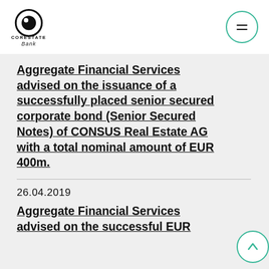CORESTATE Bank
Aggregate Financial Services advised on the issuance of a successfully placed senior secured corporate bond (Senior Secured Notes) of CONSUS Real Estate AG with a total nominal amount of EUR 400m.
26.04.2019
Aggregate Financial Services advised on the successful EUR